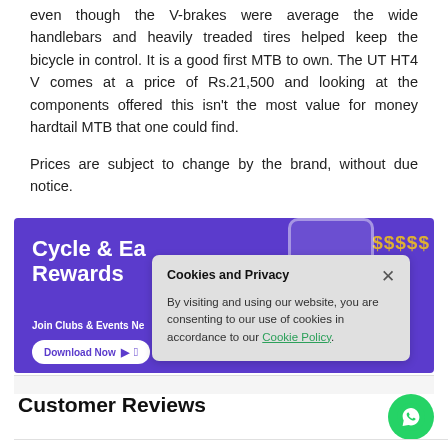even though the V-brakes were average the wide handlebars and heavily treaded tires helped keep the bicycle in control. It is a good first MTB to own. The UT HT4 V comes at a price of Rs.21,500 and looking at the components offered this isn't the most value for money hardtail MTB that one could find.
Prices are subject to change by the brand, without due notice.
[Figure (screenshot): Purple banner advertisement for 'Cycle & Earn Rewards' app with 'Join Clubs & Events Near' text and 'Download Now' button with app store icons, overlaid by a 'Cookies and Privacy' dialog box stating 'By visiting and using our website, you are consenting to our use of cookies in accordance to our Cookie Policy.']
Customer Reviews